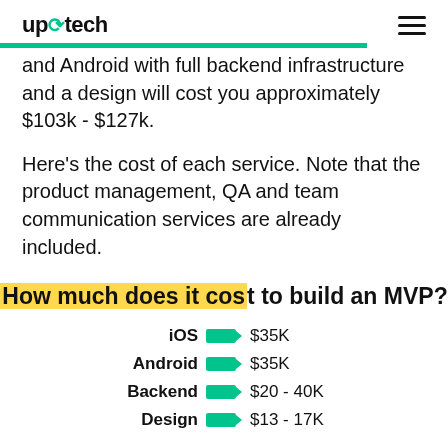up⟳tech
and Android with full backend infrastructure and a design will cost you approximately $103k - $127k.
Here's the cost of each service. Note that the product management, QA and team communication services are already included.
How much does it cost to build an MVP?
iOS  $35K
Android  $35K
Backend  $20 - 40K
Design  $13 - 17K